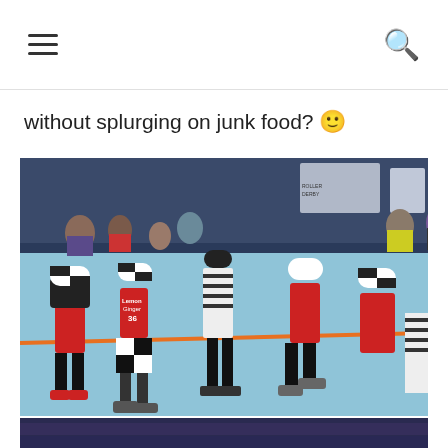Navigation header with hamburger menu and search icon
without splurging on junk food? 🙂
[Figure (photo): Roller derby players on a blue rink floor during a match. Players in red jerseys with black and white checkered helmets and shorts are visible. One player wears a red jersey with number 36 (Lemon Ginger). A referee in a striped shirt stands in the background. Spectators and other players are visible in the background.]
[Figure (photo): Large crowd of spectators in an arena, packed stands with many people watching an event. The crowd fills the majority of the frame with blue seating visible.]